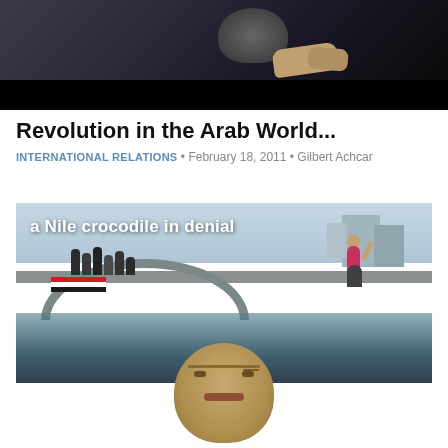[Figure (photo): Dark photo of a person at top of page, partially visible against a dark background]
Revolution in the Arab World...
INTERNATIONAL RELATIONS • February 18, 2011 • Gilbert Achcar
[Figure (photo): Photo of protesters celebrating on a bridge over the Nile river in Cairo, with a composite image of Mubarak in the water below, overlaid with text 'a Nile crocodile in denial']